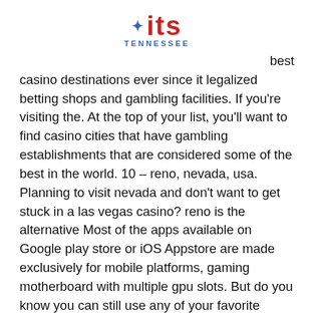[Figure (logo): ITS Tennessee logo with blue star symbol, red 'its' text, and blue 'TENNESSEE' text below]
best casino destinations ever since it legalized betting shops and gambling facilities. If you're visiting the. At the top of your list, you'll want to find casino cities that have gambling establishments that are considered some of the best in the world. 10 – reno, nevada, usa. Planning to visit nevada and don't want to get stuck in a las vegas casino? reno is the alternative Most of the apps available on Google play store or iOS Appstore are made exclusively for mobile platforms, gaming motherboard with multiple gpu slots. But do you know you can still use any of your favorite Android or iOS apps on your laptop even if the official version for PC platform not available? For more pay lines, the odds of winning a doubleu